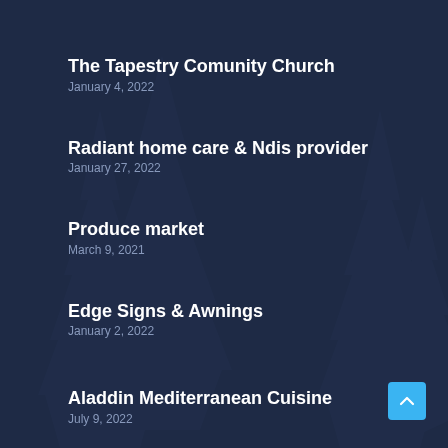The Tapestry Comunity Church
January 4, 2022
Radiant home care & Ndis provider
January 27, 2022
Produce market
March 9, 2021
Edge Signs & Awnings
January 2, 2022
Aladdin Mediterranean Cuisine
July 9, 2022